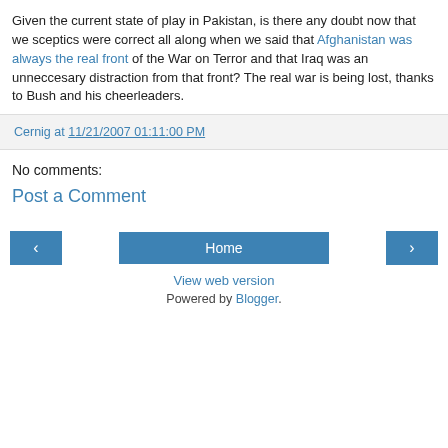Given the current state of play in Pakistan, is there any doubt now that we sceptics were correct all along when we said that Afghanistan was always the real front of the War on Terror and that Iraq was an unneccesary distraction from that front? The real war is being lost, thanks to Bush and his cheerleaders.
Cernig at 11/21/2007 01:11:00 PM
No comments:
Post a Comment
Home
View web version
Powered by Blogger.